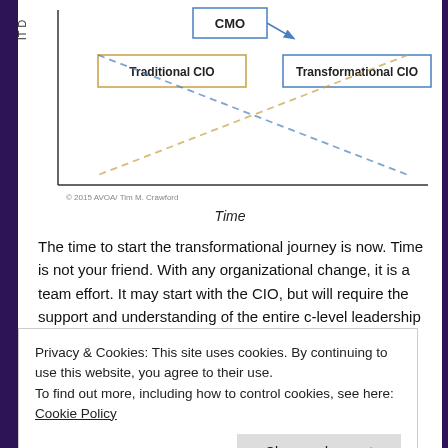[Figure (schematic): Diagram showing IT organizational roles over time: CMO box at top center, Traditional CIO box at left, Transformational CIO box at right, with crossing dashed lines (orange and blue) and arrows indicating transitions over time. Y-axis labeled 'IT D...' and X-axis labeled 'Time'. Copyright: © 2015 AVOA/ Tim M. Crawford]
Time
The time to start the transformational journey is now. Time is not your friend. With any organizational change, it is a team effort. It may start with the CIO, but will require the support and understanding of the entire c-level leadership team and IT organization. For many
Privacy & Cookies: This site uses cookies. By continuing to use this website, you agree to their use.
To find out more, including how to control cookies, see here: Cookie Policy
Close and accept